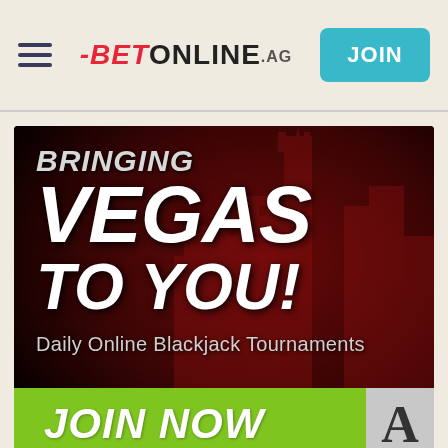≡  BETONLINE.AG  JOIN
[Figure (illustration): BetOnline.ag promotional banner with dark red background showing Las Vegas city skyline silhouette. Large bold italic white text reads: BRINGING VEGAS TO YOU! Subtitle reads: Daily Online Blackjack Tournaments. Green button at bottom reads: JOIN NOW with a playing card showing letter A.]